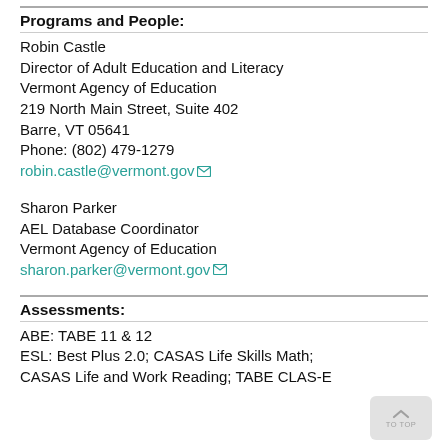Programs and People:
Robin Castle
Director of Adult Education and Literacy
Vermont Agency of Education
219 North Main Street, Suite 402
Barre, VT 05641
Phone: (802) 479-1279
robin.castle@vermont.gov
Sharon Parker
AEL Database Coordinator
Vermont Agency of Education
sharon.parker@vermont.gov
Assessments:
ABE: TABE 11 & 12
ESL: Best Plus 2.0; CASAS Life Skills Math; CASAS Life and Work Reading; TABE CLAS-E